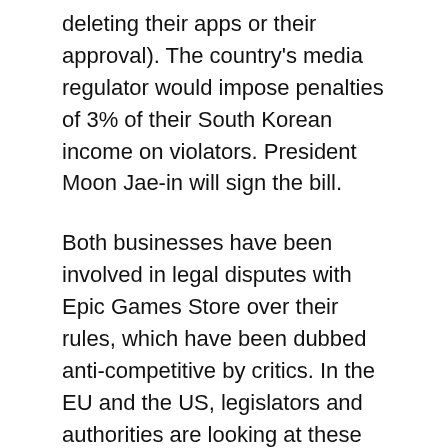deleting their apps or their approval). The country's media regulator would impose penalties of 3% of their South Korean income on violators. President Moon Jae-in will sign the bill.
Both businesses have been involved in legal disputes with Epic Games Store over their rules, which have been dubbed anti-competitive by critics. In the EU and the US, legislators and authorities are looking at these practices more closely. Each may be keeping an eye on the new law's development as a model for future legislation.
[Figure (photo): Broken image placeholder for file: 1630426942_4_South-Korea-Passes-Law-Requiring-Apple-and-Google-to-Accept. Image courtesy of American University.]
The legislation modifies the Telecommunications Business Act of South Korea, and it bars...